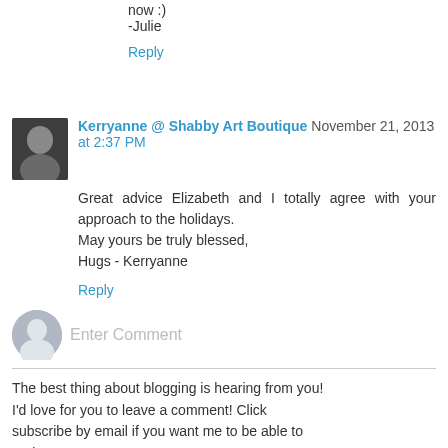now :)
-Julie
Reply
Kerryanne @ Shabby Art Boutique  November 21, 2013 at 2:37 PM
Great advice Elizabeth and I totally agree with your approach to the holidays.
May yours be truly blessed,
Hugs - Kerryanne
Reply
[Figure (other): Enter Comment input field with user avatar icon]
The best thing about blogging is hearing from you! I'd love for you to leave a comment! Click subscribe by email if you want me to be able to reply to you.